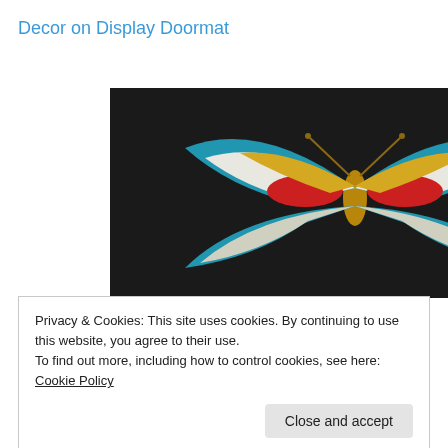Decor on Display Doormat
[Figure (photo): Close-up photo of a decorative doormat with a black background featuring a colorful butterfly with teal, yellow, red, and white wings in the center, plus decorative leaf and seed/pod motifs in gold and white on the right side.]
Privacy & Cookies: This site uses cookies. By continuing to use this website, you agree to their use.
To find out more, including how to control cookies, see here: Cookie Policy
Close and accept